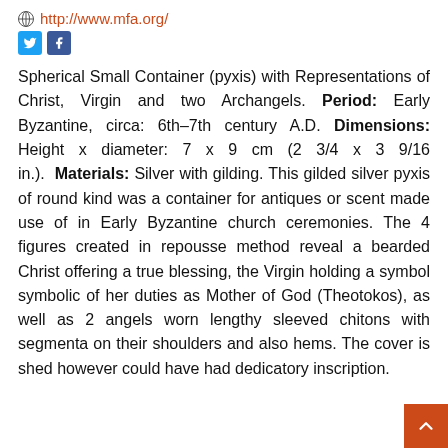http://www.mfa.org/
[Figure (illustration): Twitter and Facebook social media icons]
Spherical Small Container (pyxis) with Representations of Christ, Virgin and two Archangels. Period: Early Byzantine, circa: 6th–7th century A.D. Dimensions: Height x diameter: 7 x 9 cm (2 3/4 x 3 9/16 in.). Materials: Silver with gilding. This gilded silver pyxis of round kind was a container for antiques or scent made use of in Early Byzantine church ceremonies. The 4 figures created in repousse method reveal a bearded Christ offering a true blessing, the Virgin holding a symbol symbolic of her duties as Mother of God (Theotokos), as well as 2 angels worn lengthy sleeved chitons with segmenta on their shoulders and also hems. The cover is shed however could have had dedicatory inscription.